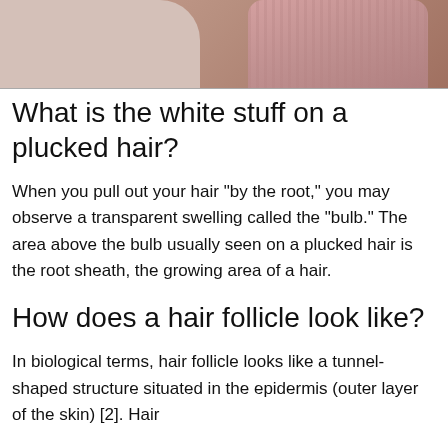[Figure (photo): Partial photo of a person's shoulder/neck area wearing a pink/mauve ribbed tank top, cropped at the top of the page.]
What is the white stuff on a plucked hair?
When you pull out your hair “by the root,” you may observe a transparent swelling called the “bulb.” The area above the bulb usually seen on a plucked hair is the root sheath, the growing area of a hair.
How does a hair follicle look like?
In biological terms, hair follicle looks like a tunnel-shaped structure situated in the epidermis (outer layer of the skin) [2]. Hair